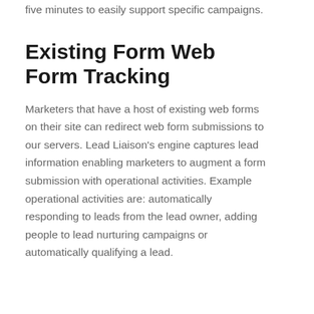five minutes to easily support specific campaigns.
Existing Form Web Form Tracking
Marketers that have a host of existing web forms on their site can redirect web form submissions to our servers. Lead Liaison's engine captures lead information enabling marketers to augment a form submission with operational activities. Example operational activities are: automatically responding to leads from the lead owner, adding people to lead nurturing campaigns or automatically qualifying a lead.